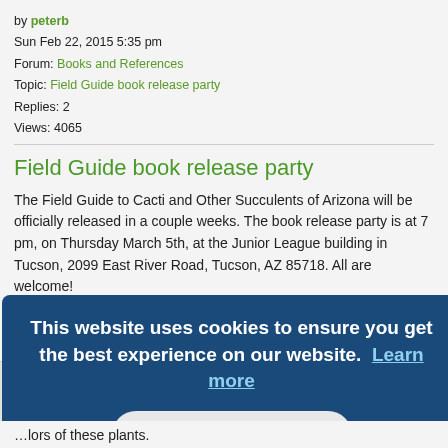by peterb
Sun Feb 22, 2015 5:35 pm
Forum: Books and References
Topic: Field Guide book release party
Replies: 2
Views: 4065
Field Guide book release party
The Field Guide to Cacti and Other Succulents of Arizona will be officially released in a couple weeks. The book release party is at 7 pm, on Thursday March 5th, at the Junior League building in Tucson, 2099 East River Road, Tucson, AZ 85718. All are welcome!

Peter
Jump to post ›
This website uses cookies to ensure you get the best experience on our website. Learn more
Got it!
…colors of these plants.